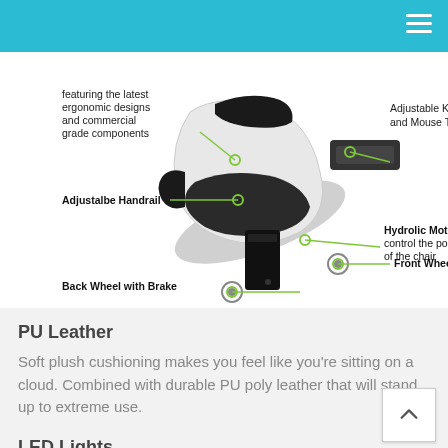[Figure (infographic): An ergonomic chair shown in a tilted/reclined position with labeled callouts using green lines and circles pointing to: 'featuring the latest ergonomic designs and commercial grade components' (top left), 'Adjustable Keyboard and Mouse Tray' (top right), 'Adjustalbe Handrail' (middle left), 'Front Wheel' (middle right), 'Hydrolic Motors control the positioning of the chair' (lower right), 'Back Wheel with Brake' (bottom left).]
PU Leather
Soft plush cushioning makes you feel like you're sitting on a cloud. Combined with durable PU poly leather that will stand up to extreme use.
LED Lights
LED cabin lights offer a bright light from overhead to illuminate the keyboard tray. An RGB light belt runs